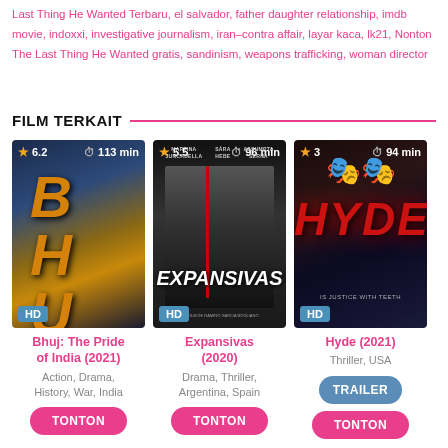Last Thing He Wanted Terbaru, el salvador, father daughter relationship, imdb movie, indoxxi, investigative journalism, iran–contra affair, layar kaca, lk21, Nonton The Last Thing He Wanted gratis, sandinism, weapons trafficking, woman director
FILM TERKAIT
[Figure (photo): Movie poster for Bhuj: The Pride of India (2021) with rating 6.2 stars and 113 min duration, HD badge]
Bhuj: The Pride of India (2021)
Action, Drama, History, War, India
TONTON
[Figure (photo): Movie poster for Expansivas (2020) with rating 5.5 stars and 96 min duration, HD badge]
Expansivas (2020)
Drama, Thriller, Argentina, Spain
TONTON
[Figure (photo): Movie poster for Hyde (2021) with rating 3 stars and 94 min duration, HD badge]
Hyde (2021)
Thriller, USA
TRAILER
TONTON